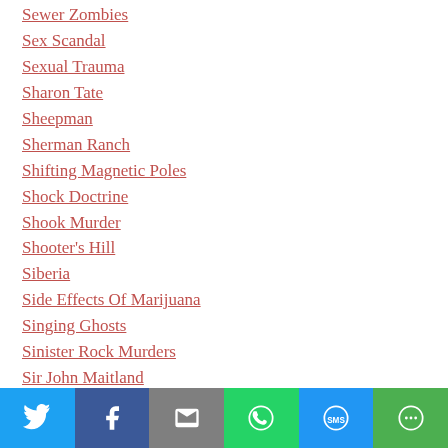Sewer Zombies
Sex Scandal
Sexual Trauma
Sharon Tate
Sheepman
Sherman Ranch
Shifting Magnetic Poles
Shock Doctrine
Shook Murder
Shooter's Hill
Siberia
Side Effects Of Marijuana
Singing Ghosts
Sinister Rock Murders
Sir John Maitland
Sir Robert Dudley
Sister Maria Crocifissa Della
[Figure (infographic): Social sharing bar with Twitter, Facebook, Email, WhatsApp, SMS, and More buttons]